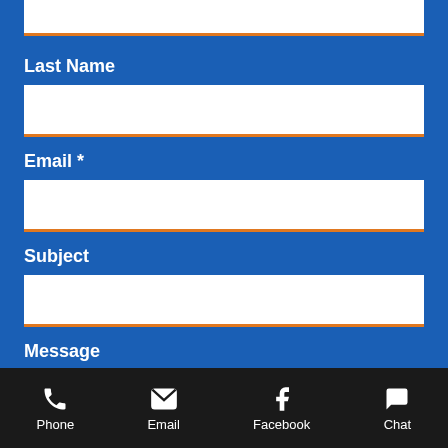[Figure (screenshot): Partial white input field at the top, representing the bottom of a First Name form field with orange bottom border on blue background.]
Last Name
[Figure (screenshot): White input box for Last Name with orange bottom border.]
Email *
[Figure (screenshot): White input box for Email with orange bottom border.]
Subject
[Figure (screenshot): White input box for Subject with orange bottom border.]
Message
[Figure (screenshot): White textarea for Message with orange bottom border and a circular scroll-up button (blue with orange ring, white chevron icon) in the bottom-right corner.]
[Figure (screenshot): Bottom navigation bar with four items: Phone (phone icon), Email (envelope icon), Facebook (Facebook icon), Chat (speech bubble icon), all on black background with white text.]